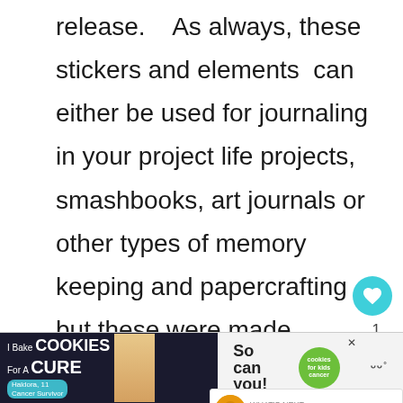release.   As always, these stickers and elements  can either be used for journaling in your project life projects, smashbooks, art journals or other types of memory keeping and papercrafting but these were made specifically for you Erin Condren Planner and Filofax fans.
Note  ***Please see my Terms of Use below before downloading if you have not to been to this site before.***
[Figure (screenshot): Ad banner: I Bake COOKIES For A CURE - Haldora, 11 Cancer Survivor - So can you! - cookies for kids cancer. Close button X. WW logo.]